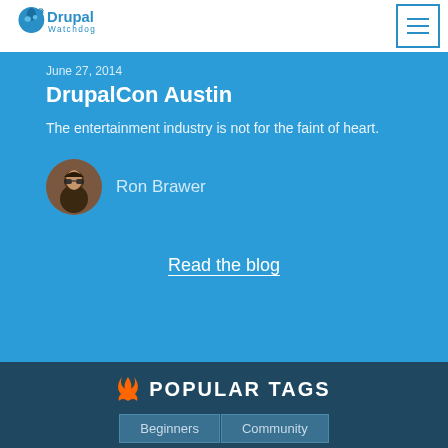Drupal Watchdog
June 27, 2014
DrupalCon Austin
The entertainment industry is not for the faint of heart.
Ron Brawer
Read the blog
POPULAR TAGS
Beginners
Community
Contributed modules
Drupal 7